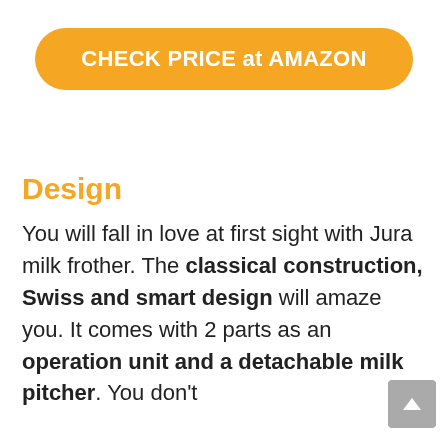[Figure (other): Orange rounded button with white bold text reading CHECK PRICE at AMAZON]
Design
You will fall in love at first sight with Jura milk frother. The classical construction, Swiss and smart design will amaze you. It comes with 2 parts as an operation unit and a detachable milk pitcher. You don't